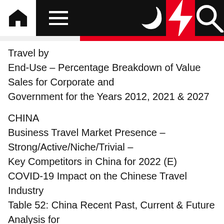Navigation bar with home, menu, moon, lightning, and search icons
Travel by End-Use – Percentage Breakdown of Value Sales for Corporate and Government for the Years 2012, 2021 & 2027
CHINA
Business Travel Market Presence – Strong/Active/Niche/Trivial – Key Competitors in China for 2022 (E)
COVID-19 Impact on the Chinese Travel Industry
Table 52: China Recent Past, Current & Future Analysis for Business Travel by Service – Food & Lodging, Recreation and Transportation – Independent Analysis of Annual Sales in US$ Million for the Years 2020 through 2027 and % CAGR